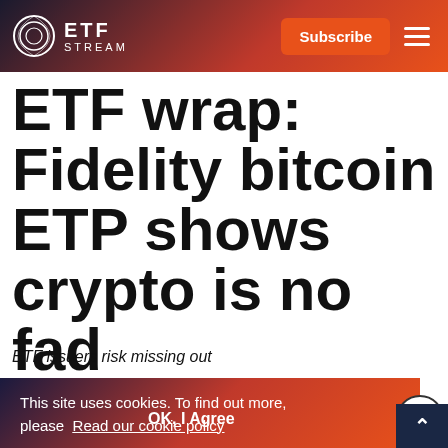ETF STREAM
ETF wrap: Fidelity bitcoin ETP shows crypto is no fad
ETF issuers risk missing out
This site uses cookies. To find out more, please Read our cookie policy
OK, I Agree